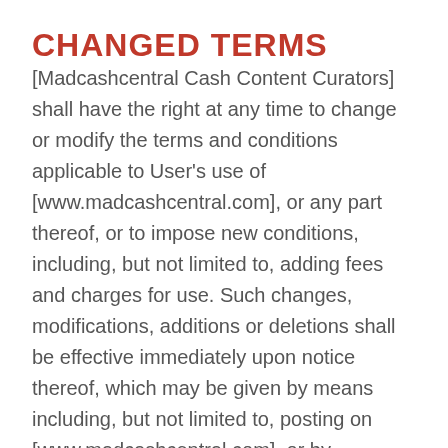CHANGED TERMS
[Madcashcentral Cash Content Curators] shall have the right at any time to change or modify the terms and conditions applicable to User's use of [www.madcashcentral.com], or any part thereof, or to impose new conditions, including, but not limited to, adding fees and charges for use. Such changes, modifications, additions or deletions shall be effective immediately upon notice thereof, which may be given by means including, but not limited to, posting on [www.madcashcentral.com], or by electronic or conventional mail, or by any other means